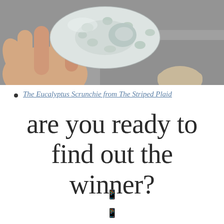[Figure (photo): A hand holding a light gray/white eucalyptus patterned fabric scrunchie, with a shoe tip and gray pavement visible in the background.]
The Eucalyptus Scrunchie from The Striped Plaid
are you ready to find out the winner?
🔽
🔽